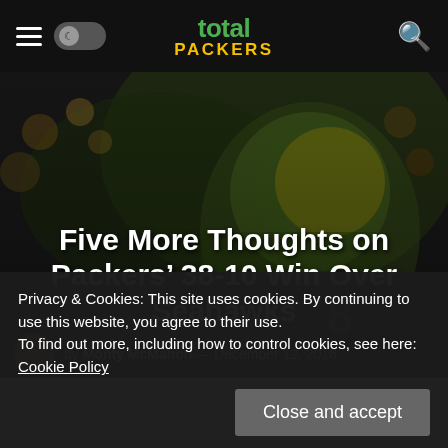total PACKERS — navigation bar with hamburger menu, dark mode toggle, logo, and search icon
[Figure (photo): Green Bay Packers player in green and yellow helmet, crowd in background, dark stadium atmosphere]
Five More Thoughts on Packers' 38-10 Win Over Seahawks
by Monty McMahon — December 12, 2016
Privacy & Cookies: This site uses cookies. By continuing to use this website, you agree to their use.
To find out more, including how to control cookies, see here: Cookie Policy
Close and accept